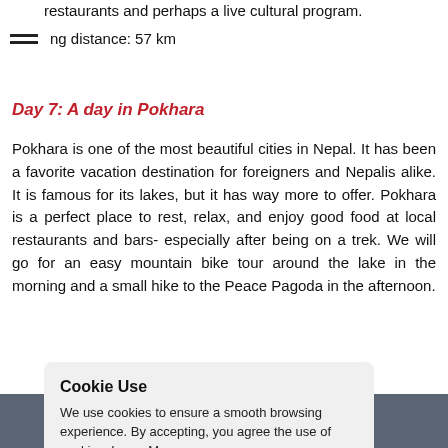restaurants and perhaps a live cultural program.
ng distance: 57 km
Day 7: A day in Pokhara
Pokhara is one of the most beautiful cities in Nepal. It has been a favorite vacation destination for foreigners and Nepalis alike. It is famous for its lakes, but it has way more to offer. Pokhara is a perfect place to rest, relax, and enjoy good food at local restaurants and bars- especially after being on a trek. We will go for an easy mountain bike tour around the lake in the morning and a small hike to the Peace Pagoda in the afternoon.
Cookie Use
We use cookies to ensure a smooth browsing experience. By accepting, you agree the use of cookies. Learn More
[Accept all] [Settings] No Thanks
mandu city tour!
bags and get ready to
arrived at our hotel in
n you to talk about
e our customer
experiences, we would love to hear your feedback. Once we
Contact us